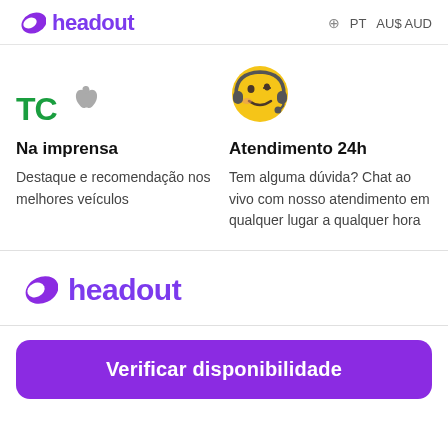headout   PT  AU$ AUD
[Figure (logo): TechCrunch TC green logo and Apple grey logo icons side by side]
Na imprensa
Destaque e recomendação nos melhores veículos
[Figure (illustration): Yellow smiley face emoji with headset/microphone for customer support]
Atendimento 24h
Tem alguma dúvida? Chat ao vivo com nosso atendimento em qualquer lugar a qualquer hora
[Figure (logo): Headout purple leaf logo with headout text]
Verificar disponibilidade